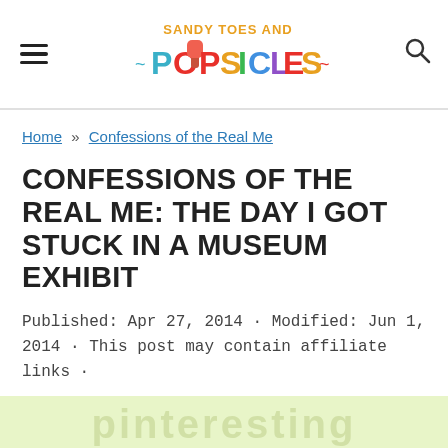Sandy Toes and Popsicles
Home » Confessions of the Real Me
CONFESSIONS OF THE REAL ME: THE DAY I GOT STUCK IN A MUSEUM EXHIBIT
Published: Apr 27, 2014 · Modified: Jun 1, 2014 · This post may contain affiliate links ·
[Figure (other): Partially visible light green/yellow banner at the bottom of the page with faint large text]